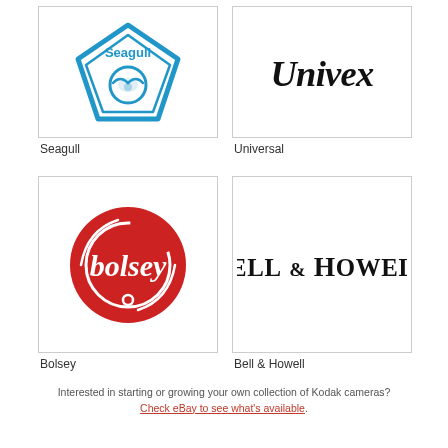[Figure (logo): Seagull camera brand logo — blue diamond/shield shape with a seagull bird silhouette inside a circle and the word 'Seagull' at the top]
Seagull
[Figure (logo): Univex brand logo — stylized cursive/script text reading 'Univex' in black]
Universal
[Figure (logo): Bolsey brand logo — red circle with white text 'bolsey' in lowercase cursive inside]
Bolsey
[Figure (logo): Bell & Howell brand logo — bold serif text 'Bell & Howell' in black]
Bell & Howell
Interested in starting or growing your own collection of Kodak cameras?
Check eBay to see what's available.